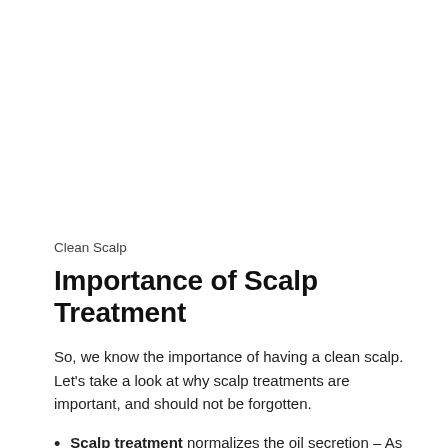Clean Scalp
Importance of Scalp Treatment
So, we know the importance of having a clean scalp. Let’s take a look at why scalp treatments are important, and should not be forgotten.
Scalp treatment normalizes the oil secretion – As we know, our scalp has more sebaceous glands than any